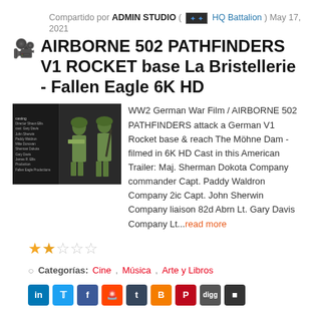Compartido por ADMIN STUDIO ( HQ Battalion ) May 17, 2021
AIRBORNE 502 PATHFINDERS V1 ROCKET base La Bristellerie - Fallen Eagle 6K HD
[Figure (photo): Thumbnail image showing WW2 soldiers in combat gear against a dark background]
WW2 German War Film / AIRBORNE 502 PATHFINDERS attack a German V1 Rocket base & reach The Möhne Dam - filmed in 6K HD Cast in this American Trailer: Maj. Sherman Dokota Company commander Capt. Paddy Waldron Company 2ic Capt. John Sherwin Company liaison 82d Abrn Lt. Gary Davis Company Lt...read more
★★☆☆☆
Categorías: Cine, Música, Arte y Libros
Social share buttons: LinkedIn, Twitter, Facebook, Reddit, Tumblr, Blogger, Pinterest, Digg, Square
Leer más   Comentarios